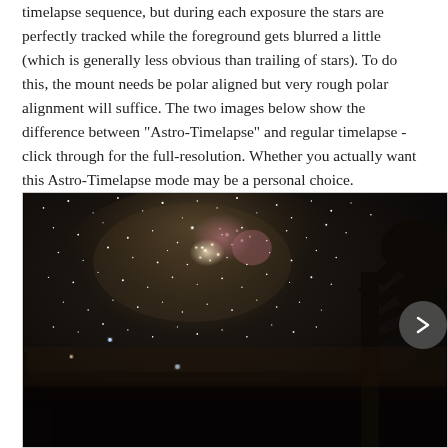timelapse sequence, but during each exposure the stars are perfectly tracked while the foreground gets blurred a little (which is generally less obvious than trailing of stars). To do this, the mount needs be polar aligned but very rough polar alignment will suffice. The two images below show the difference between "Astro-Timelapse" and regular timelapse - click through for the full-resolution. Whether you actually want this Astro-Timelapse mode may be a personal choice. Sometimes the trailed stars will actually look better in video than sharp stars which can appear to flicker between frames, but there are sure to be other applications for creative people if you find it doesn't suit you.
[Figure (photo): Night sky photograph showing the Milky Way with bright star clusters and nebulae visible in the upper portion, and silhouetted trees against the starry sky. A navigation arrow button is overlaid on the right edge.]